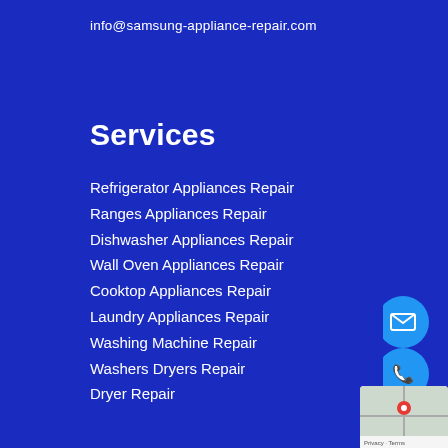info@samsung-appliance-repair.com
Services
Refrigerator Appliances Repair
Ranges Appliances Repair
Dishwasher Appliances Repair
Wall Oven Appliances Repair
Cooktop Appliances Repair
Laundry Appliances Repair
Washing Machine Repair
Washers Dryers Repair
Dryer Repair
[Figure (infographic): Three circular floating action buttons on the right side: email icon, phone icon, and up-arrow icon, plus a Google Maps widget in the bottom-right corner with Privacy and Terms text]